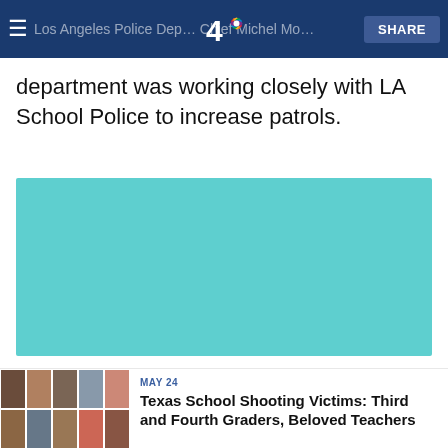Los Angeles Police Department Chief Michel Moore — SHARE — department was working closely with LA School Police to increase patrols.
department was working closely with LA School Police to increase patrols.
[Figure (other): Teal/turquoise colored rectangular placeholder block, likely an advertisement or embedded media player.]
[Figure (photo): Grid of portrait photos showing Texas school shooting victims — Third and Fourth Graders, Beloved Teachers]
MAY 24
Texas School Shooting Victims: Third and Fourth Graders, Beloved Teachers